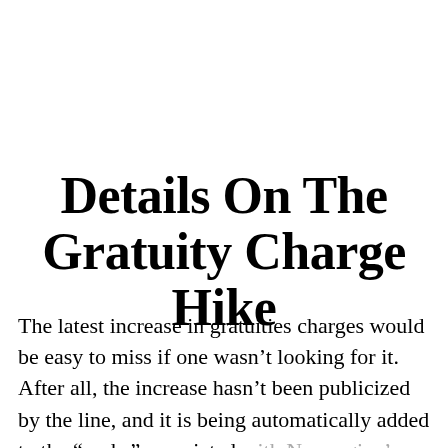Details On The Gratuity Charge Hike
The latest increase in gratuities charges would be easy to miss if one wasn't looking for it. After all, the increase hasn't been publicized by the line, and it is being automatically added to the “perks” associated with Norwegian’s popular Free At Sea program. Free At Sea offers a variety of perks to passengers upon